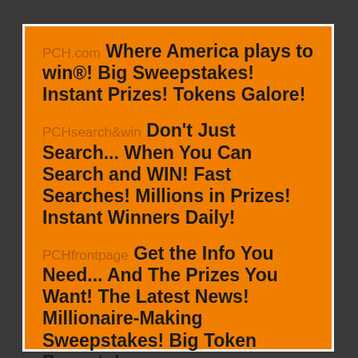PCH.com Where America plays to win®! Big Sweepstakes! Instant Prizes! Tokens Galore!
PCHsearch&win Don't Just Search... When You Can Search and WIN! Fast Searches! Millions in Prizes! Instant Winners Daily!
PCHfrontpage Get the Info You Need... And The Prizes You Want! The Latest News! Millionaire-Making Sweepstakes! Big Token Payouts!
PCHlotto Why Pay A Buck When All You